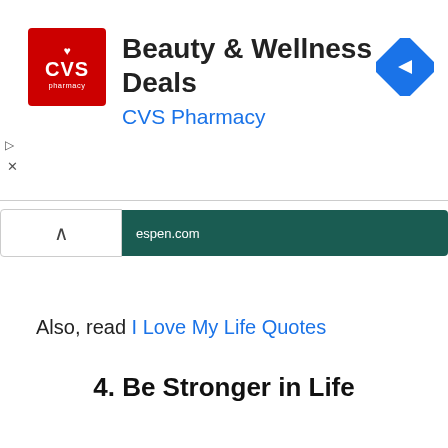[Figure (logo): CVS Pharmacy advertisement banner with CVS red logo, 'Beauty & Wellness Deals' title, 'CVS Pharmacy' subtitle in blue, and a blue navigation diamond icon on the right]
Also, read I Love My Life Quotes
4. Be Stronger in Life